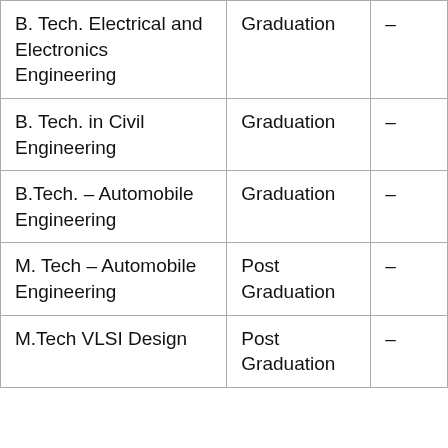| B. Tech. Electrical and Electronics Engineering | Graduation | – |
| B. Tech. in Civil Engineering | Graduation | – |
| B.Tech. – Automobile Engineering | Graduation | – |
| M. Tech – Automobile Engineering | Post Graduation | – |
| M.Tech VLSI Design | Post Graduation | – |